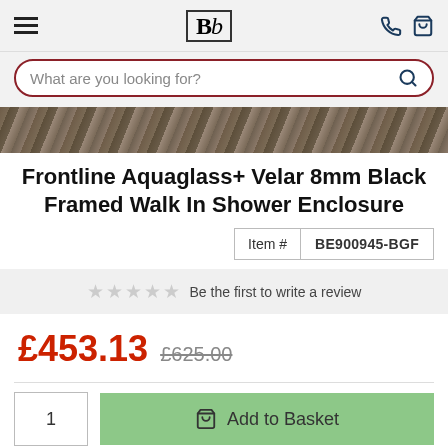Bb — navigation header with hamburger menu, logo, phone and basket icons
What are you looking for?
[Figure (photo): Partial product image showing stone/tile texture at top of page]
Frontline Aquaglass+ Velar 8mm Black Framed Walk In Shower Enclosure
| Item # | BE900945-BGF |
| --- | --- |
Be the first to write a review
£453.13  £625.00
1  Add to Basket